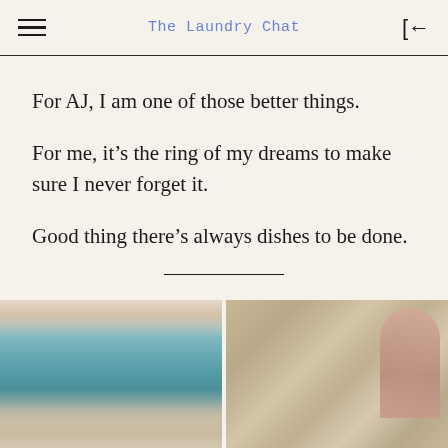The Laundry Chat
For AJ, I am one of those better things.
For me, it’s the ring of my dreams to make sure I never forget it.
Good thing there’s always dishes to be done.
[Figure (photo): Two side-by-side photos at bottom of page: left photo shows a body of water (bay or lake) with a pastel pink and blue sky at dusk, with rocky foreground; right photo shows a close-up of a person's wrist/forearm resting on a rocky surface.]